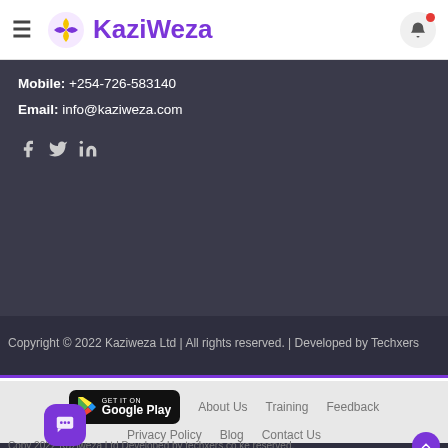KaziWeza
Mobile: +254-726-583140
Email: info@kaziweza.com
[Figure (infographic): Social media icons: Facebook (f), Twitter (bird), LinkedIn (in)]
Copyright © 2022 Kaziweza Ltd | All rights reserved. | Developed by Techxers
[Figure (logo): Google Play badge: GET IT ON Google Play]
About Us    Training    Feedback
Privacy Policy    Blog    Contact Us
Copy 2022 Kaziweza Ltd Developed by techxers.co.ke reserved.